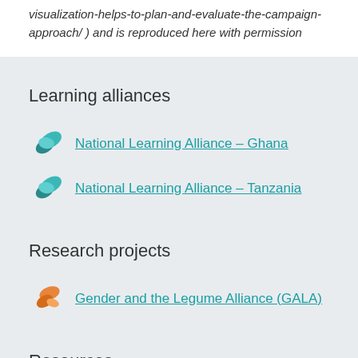visualization-helps-to-plan-and-evaluate-the-campaign-approach/ ) and is reproduced here with permission
Learning alliances
National Learning Alliance – Ghana
National Learning Alliance – Tanzania
Research projects
Gender and the Legume Alliance (GALA)
Resources